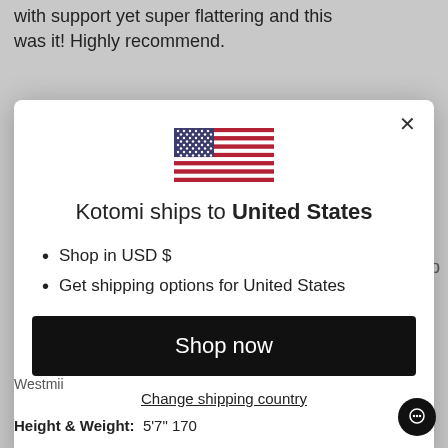with support yet super flattering and this was it! Highly recommend.
[Figure (screenshot): Modal dialog showing US flag and shipping destination selector for Kotomi store]
Kotomi ships to United States
Shop in USD $
Get shipping options for United States
Shop now
Change shipping country
Westmii
Height & Weight: 5'7" 170